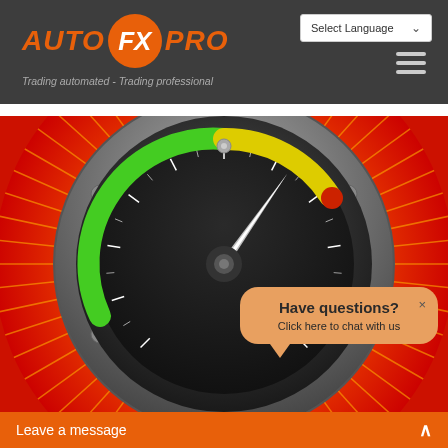[Figure (logo): AUTO FX PRO logo with orange circle containing FX text]
Trading automated - Trading professional
Select Language
[Figure (illustration): Speedometer/gauge illustration with red/orange sunburst background, green to yellow gauge needle, metallic bezel]
Have questions?
Click here to chat with us
Leave a message